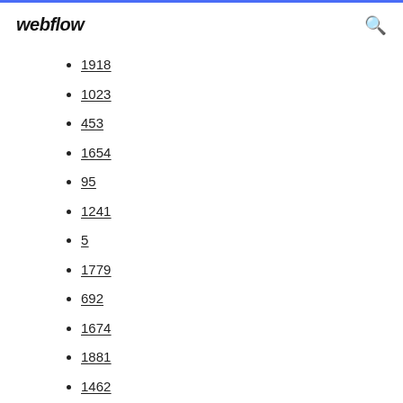webflow
1918
1023
453
1654
95
1241
5
1779
692
1674
1881
1462